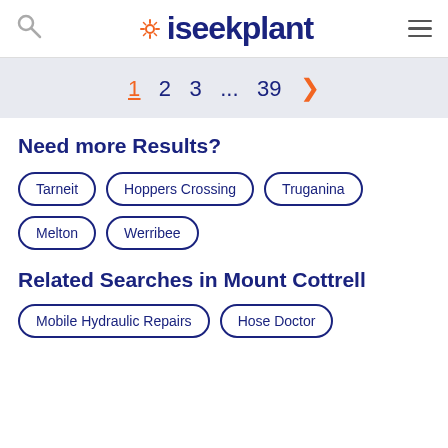iseekplant
1  2  3  ...  39  >
Need more Results?
Tarneit
Hoppers Crossing
Truganina
Melton
Werribee
Related Searches in Mount Cottrell
Mobile Hydraulic Repairs
Hose Doctor